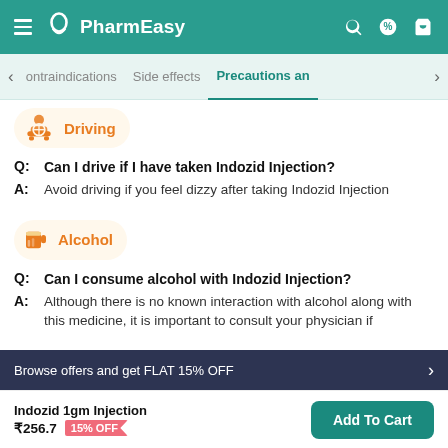PharmEasy
Precautions and
[Figure (illustration): Driving category icon — person driving, orange color]
Driving
Q: Can I drive if I have taken Indozid Injection?
A: Avoid driving if you feel dizzy after taking Indozid Injection
[Figure (illustration): Alcohol category icon — beer mug, orange color]
Alcohol
Q: Can I consume alcohol with Indozid Injection?
A: Although there is no known interaction with alcohol along with this medicine, it is important to consult your physician if
Browse offers and get FLAT 15% OFF
Indozid 1gm Injection ₹256.7 15% OFF
Add To Cart